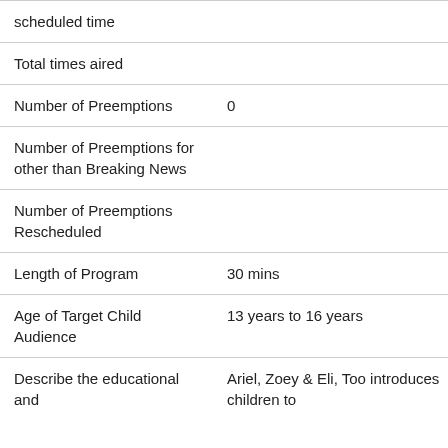| scheduled time |  |
| Total times aired |  |
| Number of Preemptions | 0 |
| Number of Preemptions for other than Breaking News |  |
| Number of Preemptions Rescheduled |  |
| Length of Program | 30 mins |
| Age of Target Child Audience | 13 years to 16 years |
| Describe the educational and | Ariel, Zoey & Eli, Too introduces children to |